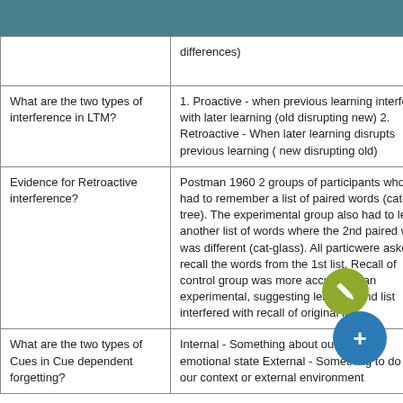| Question | Answer |
| --- | --- |
|  | differences) |
| What are the two types of interference in LTM? | 1. Proactive - when previous learning interferes with later learning (old disrupting new) 2. Retroactive - When later learning disrupts previous learning ( new disrupting old) |
| Evidence for Retroactive interference? | Postman 1960 2 groups of participants who both had to remember a list of paired words (cat-tree). The experimental group also had to learn another list of words where the 2nd paired word was different (cat-glass). All participants were asked to recall the words from the 1st list. Recall of control group was more accurate than experimental, suggesting learning 2nd list interfered with recall of original list. |
| What are the two types of Cues in Cue dependent forgetting? | Internal - Something about our mood or emotional state External - Something to do with our context or external environment |